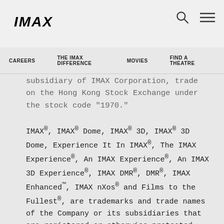IMAX
CAREERS   THE IMAX DIFFERENCE   MOVIES   FIND A THEATRE
subsidiary of IMAX Corporation, trade on the Hong Kong Stock Exchange under the stock code "1970."
IMAX®, IMAX® Dome, IMAX® 3D, IMAX® 3D Dome, Experience It In IMAX®, The IMAX Experience®, An IMAX Experience®, An IMAX 3D Experience®, IMAX DMR®, DMR®, IMAX Enhanced™, IMAX nXos® and Films to the Fullest®, are trademarks and trade names of the Company or its subsidiaries that are registered or otherwise protected under laws of various jurisdictions. More information about the Company can be found at www.imax.com. You may also connect with IMAX on Instagram (https://www.instagram.com/imax), Facebook (www.facebook.com/imax), Twitter (www.twitter.com/imax) and YouTube.